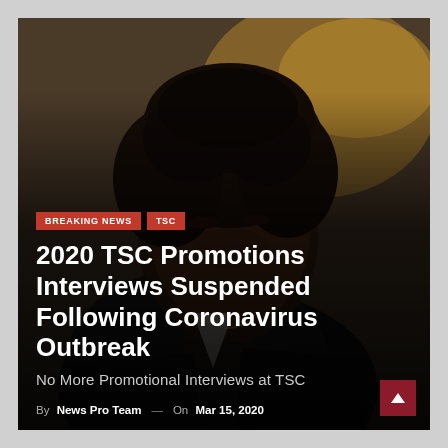[Figure (photo): Portrait photo of a smiling African woman with dark curly hair, wearing a dark jacket, used as background image for a news article card.]
BREAKING NEWS   TSC
2020 TSC Promotions Interviews Suspended Following Coronavirus Outbreak
No More Promotional Interviews at TSC
By News Pro Team — On Mar 15, 2020